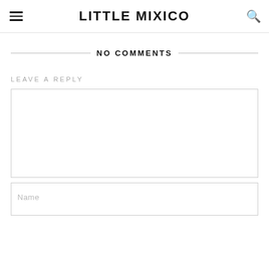LITTLE MIXICO
NO COMMENTS
LEAVE A REPLY
(comment textarea)
Name